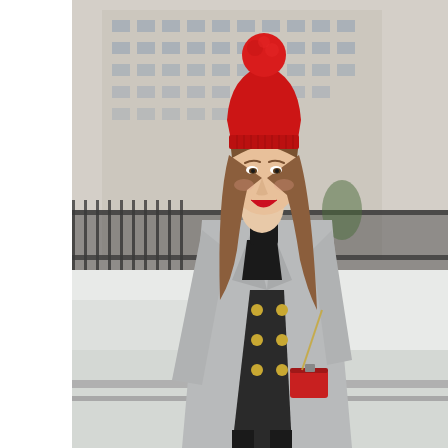[Figure (photo): A woman standing outdoors in a winter urban setting. She is wearing a bright red knit pom-pom beanie, red lipstick, a gray double-breasted coat with gold buttons, a black turtleneck underneath, and carrying a small red crossbody bag on a gold chain strap. The background shows a snow-covered area, black iron fence railings, and blurred city buildings. The left side of the page is white.]